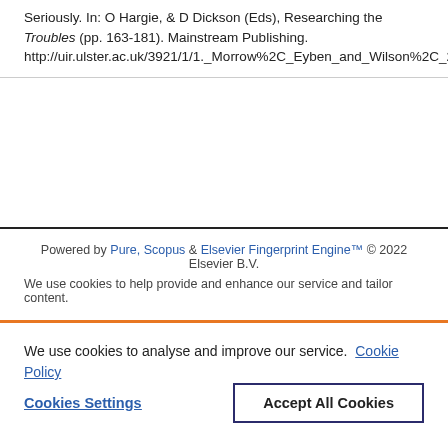Seriously. In: O Hargie, & D Dickson (Eds), Researching the Troubles (pp. 163-181). Mainstream Publishing. http://uir.ulster.ac.uk/3921/1/1._Morrow%2C_Eyben_and_Wilson%2C_2002.doc
Powered by Pure, Scopus & Elsevier Fingerprint Engine™ © 2022 Elsevier B.V.
We use cookies to help provide and enhance our service and tailor content.
We use cookies to analyse and improve our service. Cookie Policy
Cookies Settings
Accept All Cookies